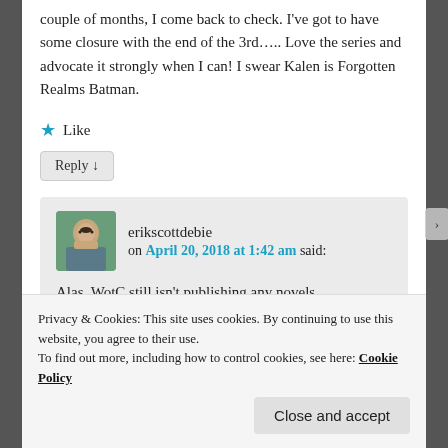couple of months, I come back to check. I've got to have some closure with the end of the 3rd….. Love the series and advocate it strongly when I can! I swear Kalen is Forgotten Realms Batman.
★ Like
Reply ↓
erikscottdebie on April 20, 2018 at 1:42 am said:
Alas, WotC still isn't publishing any novels,
Privacy & Cookies: This site uses cookies. By continuing to use this website, you agree to their use.
To find out more, including how to control cookies, see here: Cookie Policy
Close and accept